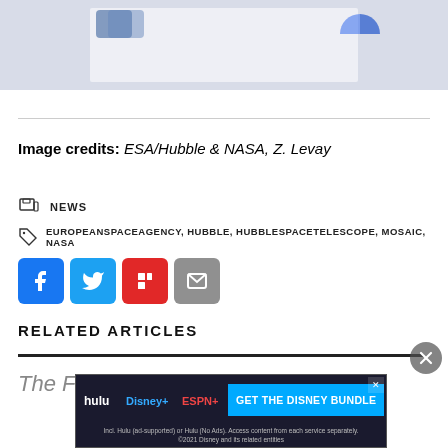[Figure (photo): Partial view of an image with icons/logos at top, light grey background with inner white box — top portion of a Hubble image article page]
Image credits: ESA/Hubble & NASA, Z. Levay
NEWS
EUROPEANSPACEAGENCY, HUBBLE, HUBBLESPACETELESCOPE, MOSAIC, NASA
[Figure (infographic): Social share buttons: Facebook (blue), Twitter (light blue), Flipboard (red), Email (grey)]
RELATED ARTICLES
The F... James Webb...
[Figure (screenshot): Advertisement banner for Disney Bundle (Hulu, Disney+, ESPN+) with blue CTA button 'GET THE DISNEY BUNDLE']